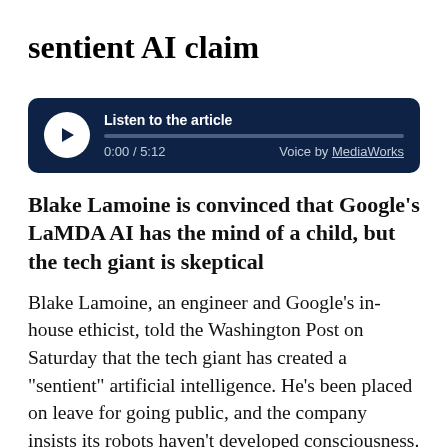sentient AI claim
[Figure (other): Audio player widget with dark navy background, play button, progress bar, time display '0:00 / 5:12', and 'Voice by MediaWorks' label]
Blake Lamoine is convinced that Google’s LaMDA AI has the mind of a child, but the tech giant is skeptical
Blake Lamoine, an engineer and Google’s in-house ethicist, told the Washington Post on Saturday that the tech giant has created a “sentient” artificial intelligence. He’s been placed on leave for going public, and the company insists its robots haven’t developed consciousness.